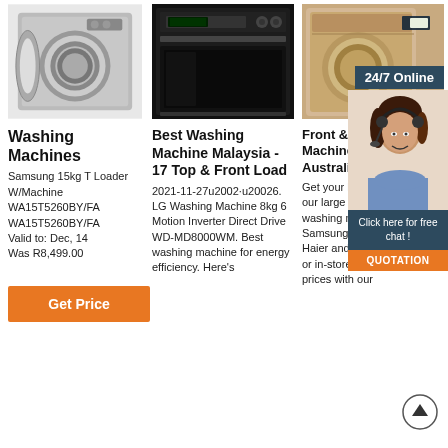[Figure (photo): Front-loading washing machine with door open, silver/chrome finish]
Washing Machines
Samsung 15kg T Loader W/Machine WA15T5260BY/FA WA15T5260BY/FA Valid to: Dec, 14 Was R8,499.00
Get Price
[Figure (photo): Black built-in oven/dishwasher with digital display]
Best Washing Machine Malaysia - 17 Top & Front Load
2021-11-27u2002·u20026. LG Washing Machine 8kg 6 Motion Inverter Direct Drive WD-MD8000WM. Best washing machine for energy efficiency. Here's
[Figure (photo): Gold/champagne colored front-loading washing machine with 24/7 Online overlay and customer service agent]
Front & Load Washing Machines Costco Australia
Get your laundry done with our large selection of reliable washing machines from Samsung, LG, Whirlpool, Haier and more! Shop online or in-store, pay below retail prices with our